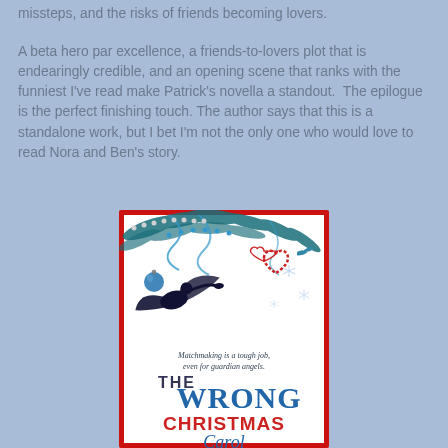missteps, and the risks of friends becoming lovers.
A beta hero par excellence, a friends-to-lovers plot that is endearingly credible, and an opening scene that ranks with the funniest I've read make Patrick's novella a standout.  The epilogue is the perfect finishing touch. The author says that this is a standalone work, but I bet I'm not the only one who would love to read Nora and Ben's story.
[Figure (illustration): Book cover for 'The Wrong Christmas Carol' featuring a silhouette of an angel flying among Christmas ornaments, pine branches, a candy cane heart, and snowflakes on a white background with a red border. Text on cover reads 'Matchmaking is a tough job, even for guardian angels.' Title shows THE WRONG CHRISTMAS Carol in large mixed fonts.]